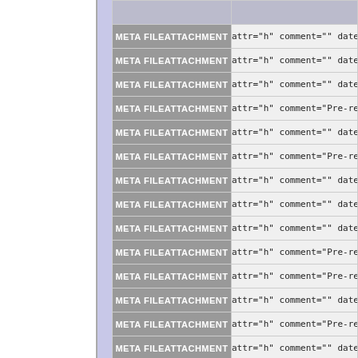| Key | Value |
| --- | --- |
| META FILEATTACHMENT | attr="h" comment="" date= |
| META FILEATTACHMENT | attr="h" comment="" date= |
| META FILEATTACHMENT | attr="h" comment="" date= |
| META FILEATTACHMENT | attr="h" comment="Pre-re |
| META FILEATTACHMENT | attr="h" comment="" date= |
| META FILEATTACHMENT | attr="h" comment="Pre-re |
| META FILEATTACHMENT | attr="h" comment="" date= |
| META FILEATTACHMENT | attr="h" comment="" date= |
| META FILEATTACHMENT | attr="h" comment="" date= |
| META FILEATTACHMENT | attr="h" comment="Pre-re |
| META FILEATTACHMENT | attr="h" comment="Pre-re |
| META FILEATTACHMENT | attr="h" comment="" date= |
| META FILEATTACHMENT | attr="h" comment="Pre-re |
| META FILEATTACHMENT | attr="h" comment="" date= |
| META FILEATTACHMENT | attr="h" comment="" date= |
| META FILEATTACHMENT | attr="h" comment="" date= |